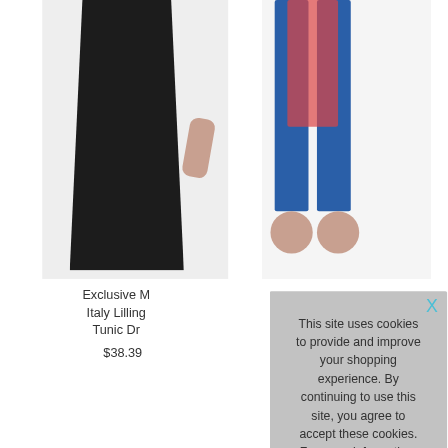[Figure (photo): Partial view of two clothing product images: left shows a dark/black dress or tunic on a model, right shows a model in blue pants and red top. Both images are cropped at the top of the page.]
Exclusive M Italy Lilling Tunic Dr
$38.39
[Figure (illustration): Teal/turquoise diagonal ribbon banner in bottom-left corner with 'EXCLUSIVE' text written diagonally in white]
This site uses cookies to provide and improve your shopping experience. By continuing to use this site, you agree to accept these cookies. For more information, please see our Cookies Page Cookies Page.

I opt-in to a better browsing experience
ACCEPT COOKIES